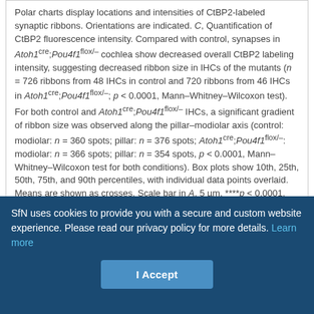Polar charts display locations and intensities of CtBP2-labeled synaptic ribbons. Orientations are indicated. C, Quantification of CtBP2 fluorescence intensity. Compared with control, synapses in Atoh1cre;Pou4f1flox/– cochlea show decreased overall CtBP2 labeling intensity, suggesting decreased ribbon size in IHCs of the mutants (n = 726 ribbons from 48 IHCs in control and 720 ribbons from 46 IHCs in Atoh1cre;Pou4f1flox/–; p < 0.0001, Mann–Whitney–Wilcoxon test). For both control and Atoh1cre;Pou4f1flox/– IHCs, a significant gradient of ribbon size was observed along the pillar–modiolar axis (control: modiolar: n = 360 spots; pillar: n = 376 spots; Atoh1cre;Pou4f1flox/–: modiolar: n = 366 spots; pillar: n = 354 spots, p < 0.0001, Mann–Whitney–Wilcoxon test for both conditions). Box plots show 10th, 25th, 50th, 75th, and 90th percentiles, with individual data points overlaid. Means are shown as crosses. Scale bar in A, 5 µm. ****p < 0.0001.
Atoh1cre;Pou4f1flox/– mice exhibit an increased voltage sensitivity of the activation of Ca2+ influx at the whole-cell and single-synapse levels
Next, because the immunofluorescence intensity but not the position
SfN uses cookies to provide you with a secure and custom website experience. Please read our privacy policy for more details. Learn more